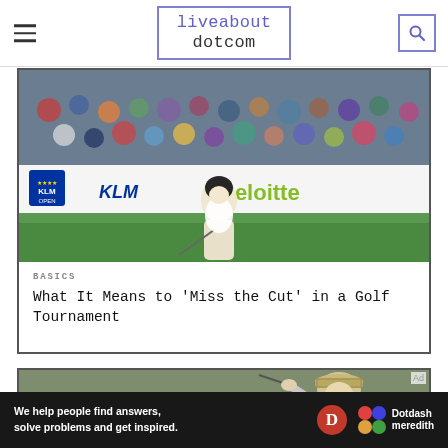liveabout dotcom
[Figure (photo): Golfer putting at KLM Open tournament with crowd in background and KLM / Deloitte sponsor banners visible]
BASICS
What It Means to 'Miss the Cut' in a Golf Tournament
[Figure (photo): Close-up of golfer in hat mid-swing]
Ad
We help people find answers, solve problems and get inspired. Dotdash meredith